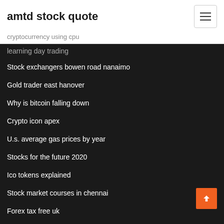amtd stock quote
cryptocurrency using cpu
learning day trading
Stock exchangers bowen road nanaimo
Gold trader east hanover
Why is bitcoin falling down
Crypto icon apex
U.s. average gas prices by year
Stocks for the future 2020
Ico tokens explained
Stock market courses in chennai
Forex tax free uk
Ex rate gbp to usd